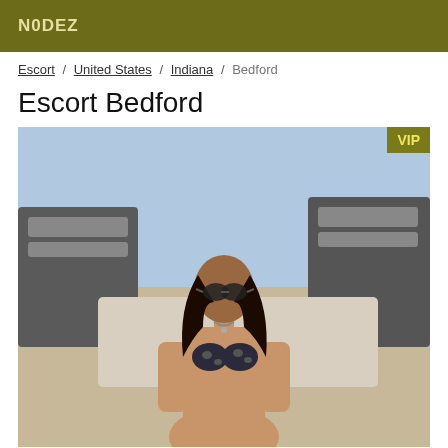N0DEZ
Escort / United States / Indiana / Bedford
Escort Bedford
[Figure (photo): A woman in a leopard-print bikini wearing sunglasses, reclining on a lounge chair at what appears to be a pool or deck area. A VIP badge is overlaid in the top-right corner of the image.]